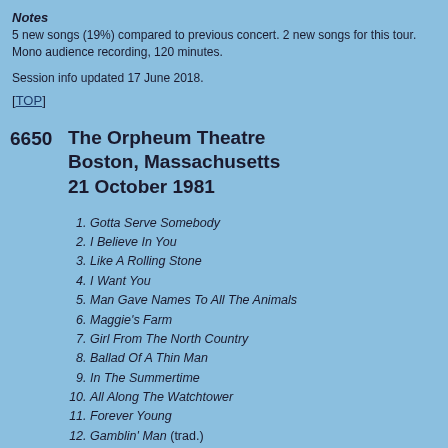Notes
5 new songs (19%) compared to previous concert. 2 new songs for this tour. Mono audience recording, 120 minutes.
Session info updated 17 June 2018.
[TOP]
6650   The Orpheum Theatre Boston, Massachusetts 21 October 1981
1. Gotta Serve Somebody
2. I Believe In You
3. Like A Rolling Stone
4. I Want You
5. Man Gave Names To All The Animals
6. Maggie's Farm
7. Girl From The North Country
8. Ballad Of A Thin Man
9. In The Summertime
10. All Along The Watchtower
11. Forever Young
12. Gamblin' Man (trad.)